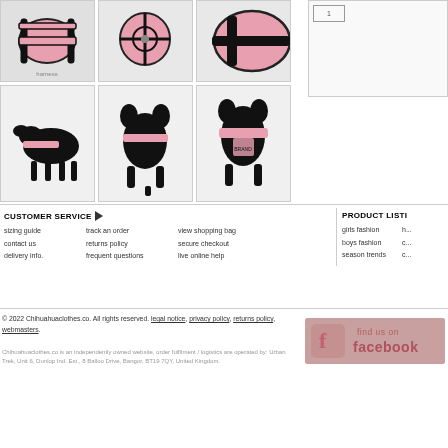[Figure (photo): Grid of 6 product photos showing pink dog harness on black mannequin dogs - top row shows harness details, bottom row shows full body views from side, back, and front]
CUSTOMER SERVICE ▶
sizing guide   track an order   view shopping bag
contact us   returns policy   secure checkout
delivery info.   frequent questions   live online help
PRODUCT LISTI...
girls fashion   h...
boys fashion   c...
season trends   c...
© 2022 Chihuahuaclothes.co. All rights reserved. legal notice, privacy policy, returns policy, webmasters.
Chihuahuaclothes.co is an independently owned website, order fulfilment / logistics are operated by: Urban Trek, Unit 6, Dunlop Ind. Est., 8 Balloo Drive, Bangor, BT19 7QY, United Kingdom.
[Figure (logo): Find us on Facebook button in pink/red tones]